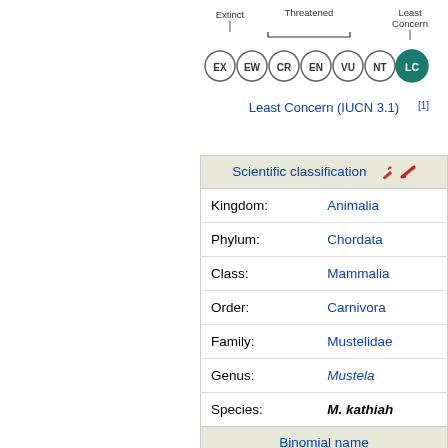[Figure (infographic): IUCN conservation status scale showing circles labeled EX, EW, CR, EN, VU, NT, LC. CR, EN, VU are bracketed as 'Threatened'. EX is labeled 'Extinct'. LC is highlighted in teal/green as 'Least Concern'. The current status shown is Least Concern (IUCN 3.1)[1].]
|  | Scientific classification |
| --- | --- |
| Kingdom: | Animalia |
| Phylum: | Chordata |
| Class: | Mammalia |
| Order: | Carnivora |
| Family: | Mustelidae |
| Genus: | Mustela |
| Species: | M. kathiah |
| Binomial name |  |
| Mustela kathiah | Hodgson, 1835 |